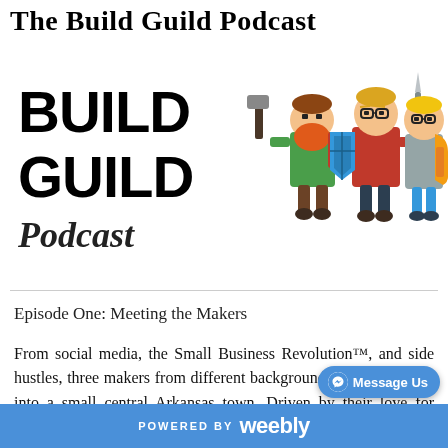The Build Guild Podcast
[Figure (logo): The Build Guild Podcast logo featuring cartoon warrior characters holding weapons and shields, with 'BUILD GUILD Podcast' text]
Episode One: Meeting the Makers
From social media, the Small Business Revolution™, and side hustles, three makers from different backgrounds have all settled into a small central Arkansas town. Driven by their love for making, community, and connection, Ben, Brian,
POWERED BY weebly